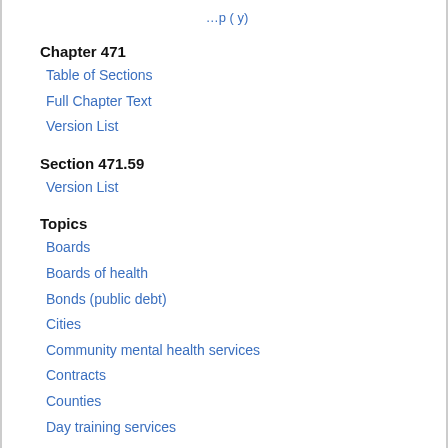Chapter 471
Table of Sections
Full Chapter Text
Version List
Section 471.59
Version List
Topics
Boards
Boards of health
Bonds (public debt)
Cities
Community mental health services
Contracts
Counties
Day training services